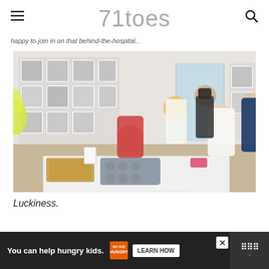71toes
happy to join in on that behind-the-hospital...
[Figure (photo): Group of people gathered around a kitchen island/counter with baking trays. A woman with blonde hair gestures, a young girl in red striped shirt holds a muffin, a teen girl in white faces away, a young man in a dark cap stands in background, and another teen in navy shirt stands at right. Black and white framed photos on wall behind them. Watermark: 71toes.com]
Luckiness.
You can help hungry kids. LEARN HOW